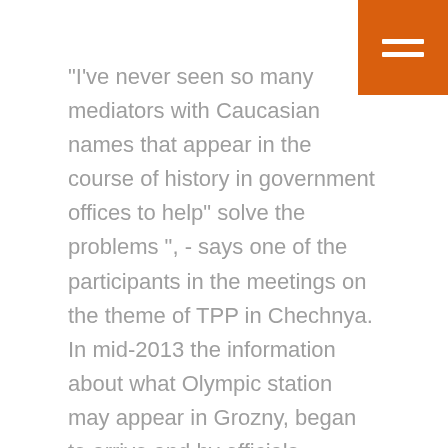[Figure (other): Orange hamburger menu icon in top-right corner]
"I've never seen so many mediators with Caucasian names that appear in the course of history in government offices to help" solve the problems ", - says one of the participants in the meetings on the theme of TPP in Chechnya. In mid-2013 the information about what Olympic station may appear in Grozny, began to arrive and by officials.
What does the "Gazprom"
Among the Chechen power engineeringOdita bike: Denis Fedorov, general director of "Gazprom energy" a couple of months ago appeared on the court in Grozny, where before the war was a CHP-3. There was only from her